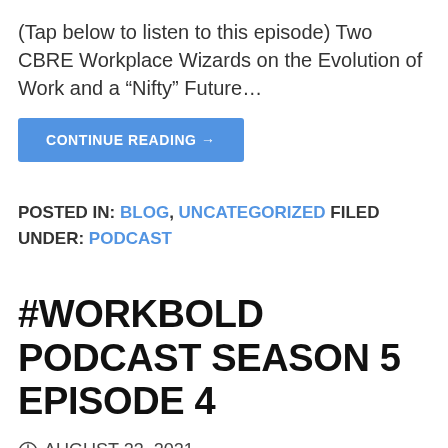(Tap below to listen to this episode) Two CBRE Workplace Wizards on the Evolution of Work and a “Nifty” Future…
CONTINUE READING →
POSTED IN: BLOG, UNCATEGORIZED FILED UNDER: PODCAST
#WORKBOLD PODCAST SEASON 5 EPISODE 4
AUGUST 23, 2021